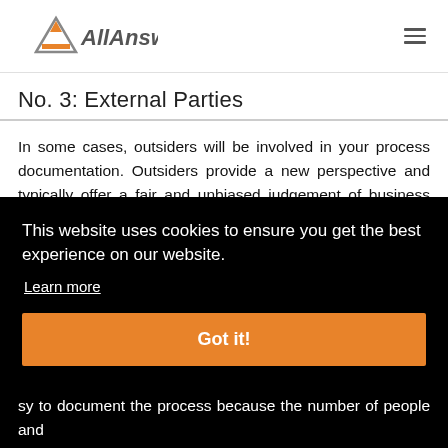AllAnswered
No. 3: External Parties
In some cases, outsiders will be involved in your process documentation. Outsiders provide a new perspective and typically offer a fair and unbiased judgement of business practices. Sometimes it takes observing something from a distance to identify inefficiencies and inefficient
This website uses cookies to ensure you get the best experience on our website.
Learn more
Got it!
sy to document the process because the number of people and